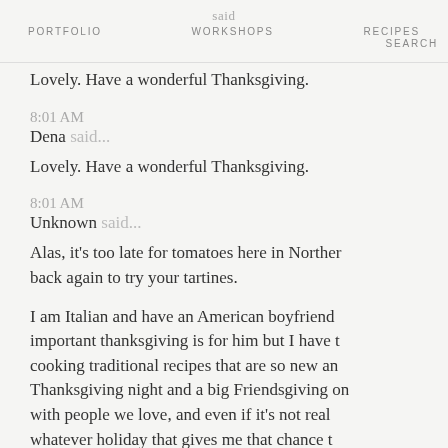PORTFOLIO    WORKSHOPS    RECIPES    SEARCH
Lovely. Have a wonderful Thanksgiving.
8:01 AM
Dena said...
Lovely. Have a wonderful Thanksgiving.
8:01 AM
Unknown said...
Alas, it's too late for tomatoes here in Norther back again to try your tartines.
I am Italian and have an American boyfriend important thanksgiving is for him but I have t cooking traditional recipes that are so new an Thanksgiving night and a big Friendsgiving on with people we love, and even if it's not rea whatever holiday that gives me that chance t food on it. I will surely keep into serious accou
8:05 AM